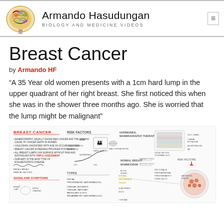Armando Hasudungan — Biology and Medicine Videos
Breast Cancer
by Armando HF
“A 35 Year old women presents with a 1cm hard lump in the upper quadrant of her right breast. She first noticed this when she was in the shower three months ago. She is worried that the lump might be malignant”
[Figure (infographic): Breast Cancer educational infographic showing risk factors, signs and symptoms, types, normal breast anatomy, and cancer biology diagrams with hand-drawn illustrations and annotations.]